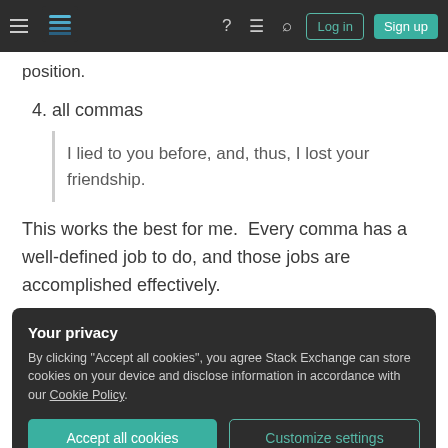Stack Exchange navigation bar with Log in and Sign up buttons
position.
4. all commas
I lied to you before, and, thus, I lost your friendship.
This works the best for me.  Every comma has a well-defined job to do, and those jobs are accomplished effectively.
Your privacy
By clicking "Accept all cookies", you agree Stack Exchange can store cookies on your device and disclose information in accordance with our Cookie Policy.
Accept all cookies   Customize settings
sure that you eliminate pairs.  Don't leave half of a